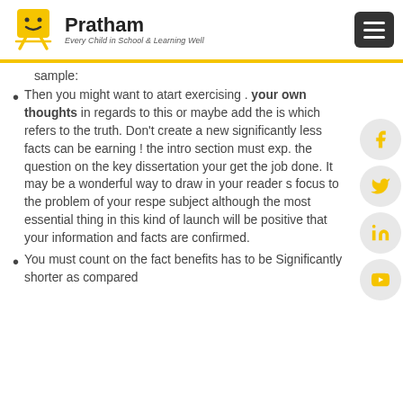[Figure (logo): Pratham logo with smiley face on easel and tagline 'Every Child in School & Learning Well']
sample:
Then you might want to atart exercising . your own thoughts in regards to this or maybe add the is which refers to the truth. Don't create a new significantly less facts can be earning ! the intro section must exp. the question on the key dissertation your get the job done. It may be a wonderful way to draw in your reader s focus to the problem of your respe subject although the most essential thing in this kind of launch will be positive that your information and facts are confirmed.
You must count on the fact benefits has to be Significantly shorter as compared